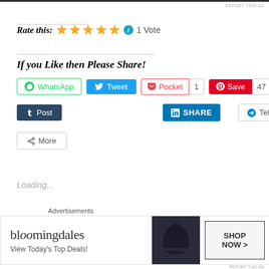REPORT THIS AD
Rate this: ★★★★★ ℹ 1 Vote
If you Like then Please Share!
[Figure (screenshot): Social sharing buttons: WhatsApp, Tweet, Pocket (1), Save (47), Post (Tumblr), LinkedIn SHARE, Telegram, More]
Loading...
Related
[Figure (other): Bloomingdale's advertisement banner: 'View Today's Top Deals! SHOP NOW >']